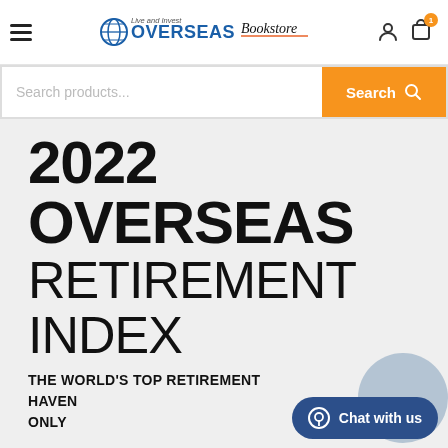Live and Invest Overseas Bookstore
[Figure (screenshot): Search bar with placeholder 'Search products...' and orange Search button]
2022 OVERSEAS RETIREMENT INDEX
THE WORLD'S TOP RETIREMENT HAVEN ONLY